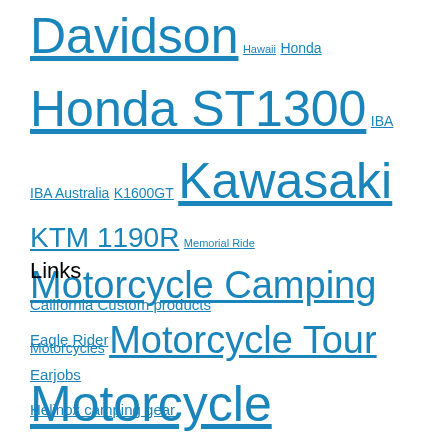Davidson Hawaii Honda Honda ST1300 IBA IBA Australia K1600GT Kawasaki KTM 1190R Memorial Ride Motorcycle Camping Motorcycles Motorcycle Tour Motorcycle Touring Motorcycle Trailer Motorcycle Travel Motorcycling Painted Silo Painted Silos Pillioning Rome Royal Caribbean Seattle Spain SS1600 ST1300 Stampin' Up! Stampin' Up! Incentive Trip Suzuki Thun Utah ZX14 ZX14R
Links
California Custom products
Eagle Rider
Earjobs
Helinox camping gear